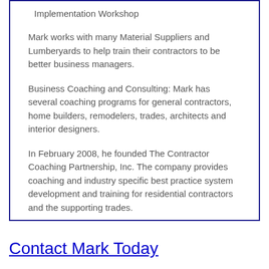Implementation Workshop
Mark works with many Material Suppliers and Lumberyards to help train their contractors to be better business managers.
Business Coaching and Consulting: Mark has several coaching programs for general contractors, home builders, remodelers, trades, architects and interior designers.
In February 2008, he founded The Contractor Coaching Partnership, Inc. The company provides coaching and industry specific best practice system development and training for residential contractors and the supporting trades.
Contact Mark Today